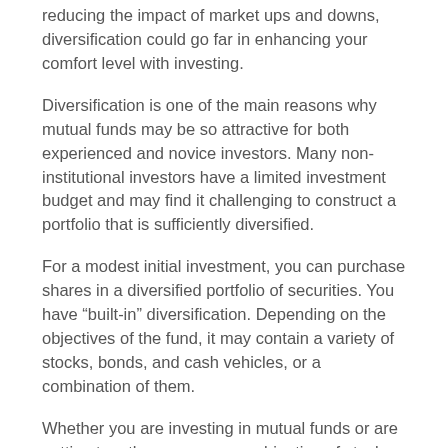reducing the impact of market ups and downs, diversification could go far in enhancing your comfort level with investing.
Diversification is one of the main reasons why mutual funds may be so attractive for both experienced and novice investors. Many non-institutional investors have a limited investment budget and may find it challenging to construct a portfolio that is sufficiently diversified.
For a modest initial investment, you can purchase shares in a diversified portfolio of securities. You have “built-in” diversification. Depending on the objectives of the fund, it may contain a variety of stocks, bonds, and cash vehicles, or a combination of them.
Whether you are investing in mutual funds or are putting together your own combination of stocks, bonds, and other investment vehicles, it is a good idea to keep in mind the importance of diversifying